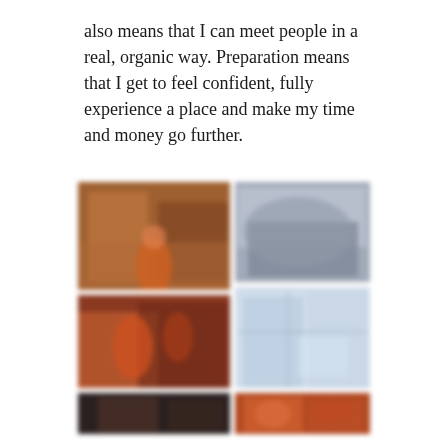also means that I can meet people in a real, organic way. Preparation means that I get to feel confident, fully experience a place and make my time and money go further.
[Figure (photo): A blurred photo collage showing multiple travel images arranged in a grid: an indoor market or bazaar scene (top-left), a close-up of an animal (top-right), a crowd scene with a person in orange (middle-left), a map or light-colored image (middle-right), a dark nighttime scene (bottom-left), and a warm-toned market scene (bottom-right).]